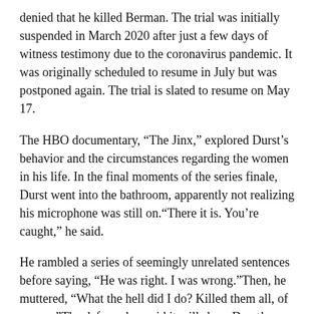denied that he killed Berman. The trial was initially suspended in March 2020 after just a few days of witness testimony due to the coronavirus pandemic. It was originally scheduled to resume in July but was postponed again. The trial is slated to resume on May 17.
The HBO documentary, “The Jinx,” explored Durst’s behavior and the circumstances regarding the women in his life. In the final moments of the series finale, Durst went into the bathroom, apparently not realizing his microphone was still on.“There it is. You’re caught,” he said.
He rambled a series of seemingly unrelated sentences before saying, “He was right. I was wrong.”Then, he muttered, “What the hell did I do? Killed them all, of course.”The defense has said it will show Durst’s statements were heavily edited and not uttered in the order in which they appeared in the documentary.
More like this: